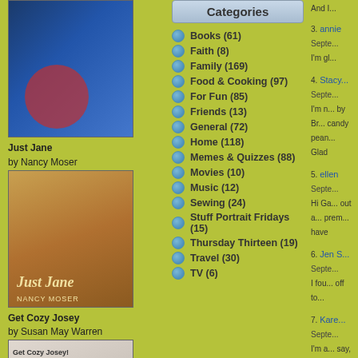[Figure (illustration): Book cover for a Susan May Warren novel with blue background and decorative elements]
Just Jane
by Nancy Moser
[Figure (illustration): Book cover for Just Jane by Nancy Moser with brown/gold tones]
Get Cozy Josey
by Susan May Warren
[Figure (illustration): Book cover for Get Cozy Josey by Susan May Warren]
Same Kind of Different as Me
by Ron Hall & Denver Moore
[Figure (illustration): Book cover for Same Kind of Different as Me]
Categories
Books (61)
Faith (8)
Family (169)
Food & Cooking (97)
For Fun (85)
Friends (13)
General (72)
Home (118)
Memes & Quizzes (88)
Movies (10)
Music (12)
Sewing (24)
Stuff Portrait Fridays (15)
Thursday Thirteen (19)
Travel (30)
TV (6)
3. annie
Septe...
I'm gl...
4. Stacy...
Septe...
I'm n... by Br... candy pean...
Glad
5. ellen
Septe...
Hi Ga... out a... prem... have
6. Jen S...
Septe...
I fou... off to...
7. Kare...
Septe...
I'm a... say, I...
8. Sherr...
Septe...
Whe...